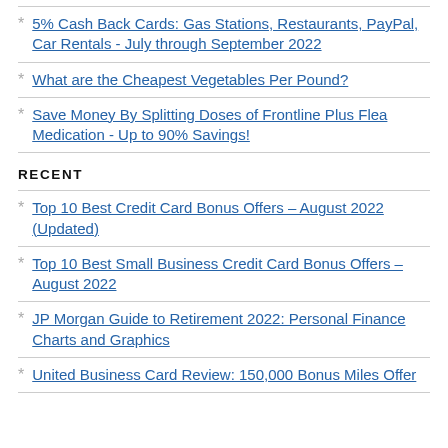5% Cash Back Cards: Gas Stations, Restaurants, PayPal, Car Rentals - July through September 2022
What are the Cheapest Vegetables Per Pound?
Save Money By Splitting Doses of Frontline Plus Flea Medication - Up to 90% Savings!
RECENT
Top 10 Best Credit Card Bonus Offers – August 2022 (Updated)
Top 10 Best Small Business Credit Card Bonus Offers – August 2022
JP Morgan Guide to Retirement 2022: Personal Finance Charts and Graphics
United Business Card Review: 150,000 Bonus Miles Offer